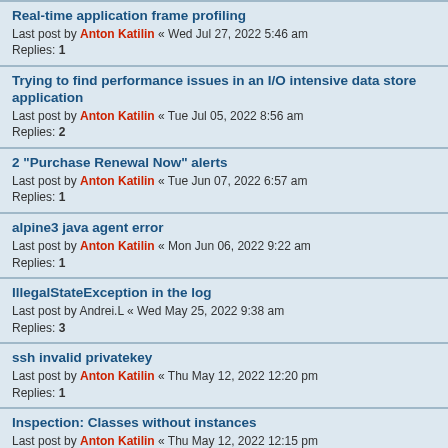Real-time application frame profiling
Last post by Anton Katilin « Wed Jul 27, 2022 5:46 am
Replies: 1
Trying to find performance issues in an I/O intensive data store application
Last post by Anton Katilin « Tue Jul 05, 2022 8:56 am
Replies: 2
2 "Purchase Renewal Now" alerts
Last post by Anton Katilin « Tue Jun 07, 2022 6:57 am
Replies: 1
alpine3 java agent error
Last post by Anton Katilin « Mon Jun 06, 2022 9:22 am
Replies: 1
IllegalStateException in the log
Last post by Andrei.L « Wed May 25, 2022 9:38 am
Replies: 3
ssh invalid privatekey
Last post by Anton Katilin « Thu May 12, 2022 12:20 pm
Replies: 1
Inspection: Classes without instances
Last post by Anton Katilin « Thu May 12, 2022 12:15 pm
Replies: 8
Merge JVMs into a view
Last post by Anton Katilin « Wed May 11, 2022 8:23 am
Replies: 1
Expired License Key
Last post by Vladimir Kondratyev « Wed May 11, 2022 7:10 am
Replies: 1